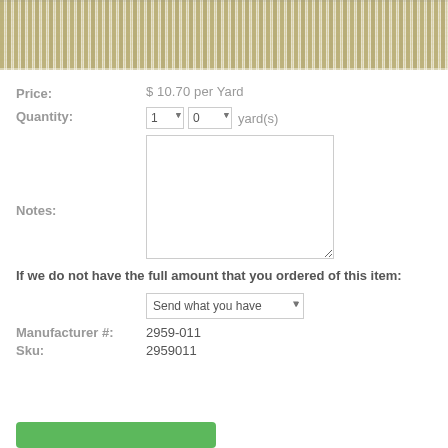[Figure (photo): Striped fabric swatch in olive green and beige/cream vertical stripes pattern]
Price: $ 10.70 per Yard
Quantity: 1 0 yard(s)
Notes:
If we do not have the full amount that you ordered of this item:
Send what you have
Manufacturer #: 2959-011
Sku: 2959011